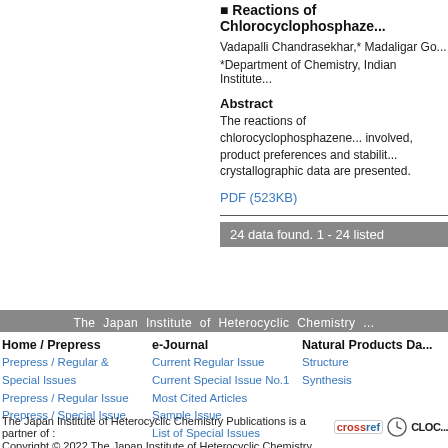Reactions of Chlorocyclophosphaze...
Vadapalli Chandrasekhar,* Madaligar Go...
*Department of Chemistry, Indian Institute...
Abstract
The reactions of chlorocyclophosphazene... involved, product preferences and stabilit... crystallographic data are presented.
PDF (523KB)
24 data found. 1 - 24 listed
The Japan Institute of Heterocyclic Chemistry
Home / Prepress
Prepress / Regular & Special Issues
Prepress / Regular Issue
Prepress / Special Issue
e-Journal
Current Regular Issue
Current Special Issue No.1
Most Cited Articles
Sample Issue
List of Special Issues
Natural Products Da...
Structure
Synthesis
The Japan Institute of Heterocyclic Chemistry Publications is a partner of :
Copyright © 2022 The Japan Institute of Heterocyclic Chemistry